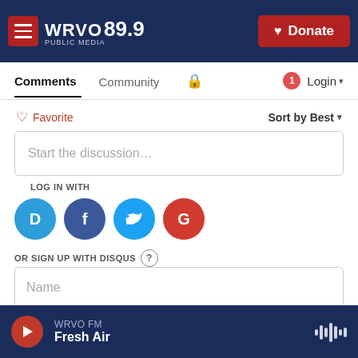[Figure (screenshot): WRVO Public Media 89.9 website header with dark navy background, hamburger menu button in dark red, WRVO PUBLIC MEDIA 89.9 logo in white, and red Donate button with heart icon]
Comments	Community	🔒	1	Login ▾
♡ Favorite	Sort by Best ▾
Start the discussion…
LOG IN WITH
[Figure (logo): Four social login icons: Disqus (blue D), Facebook (dark blue f), Twitter (light blue bird), Google (red G)]
OR SIGN UP WITH DISQUS ?
Name
WRVO FM
Fresh Air